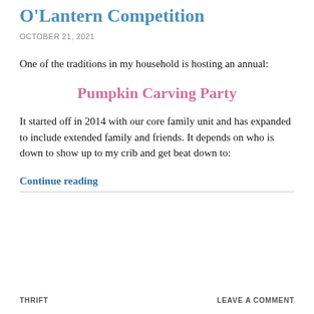O'Lantern Competition
OCTOBER 21, 2021
One of the traditions in my household is hosting an annual:
Pumpkin Carving Party
It started off in 2014 with our core family unit and has expanded to include extended family and friends. It depends on who is down to show up to my crib and get beat down to:
Continue reading
THRIFT    LEAVE A COMMENT